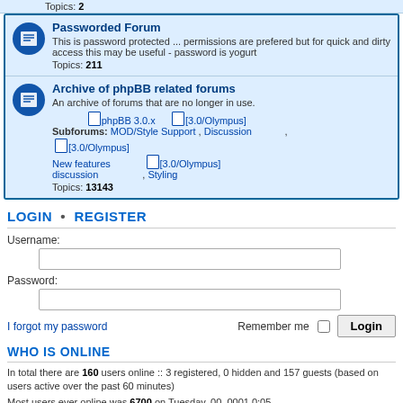Topics: 2
Passworded Forum
This is password protected ... permissions are prefered but for quick and dirty access this may be useful - password is yogurt
Topics: 211
Archive of phpBB related forums
An archive of forums that are no longer in use.
Subforums: MOD/Style Support , Discussion , [3.0/Olympus] phpBB 3.0.x [3.0/Olympus] New features discussion , [3.0/Olympus] Styling
Topics: 13143
LOGIN • REGISTER
Username:
Password:
I forgot my password
Remember me
WHO IS ONLINE
In total there are 160 users online :: 3 registered, 0 hidden and 157 guests (based on users active over the past 60 minutes)
Most users ever online was 6700 on Tuesday, 00, 0001 0:05